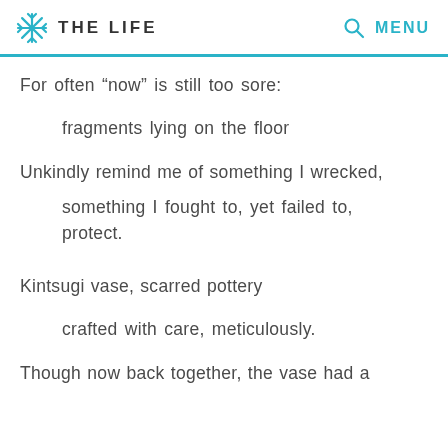THE LIFE   MENU
For often “now” is still too sore:
fragments lying on the floor
Unkindly remind me of something I wrecked,
something I fought to, yet failed to,
protect.
Kintsugi vase, scarred pottery
crafted with care, meticulously.
Though now back together, the vase had a